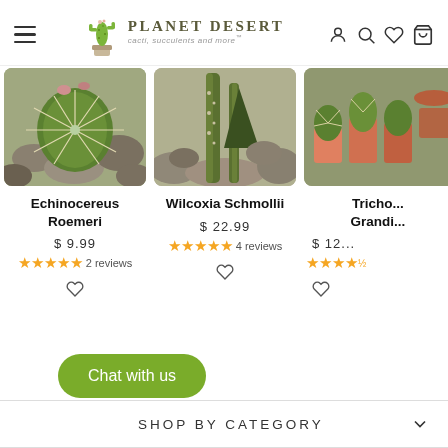Planet Desert — cacti, succulents and more
[Figure (photo): Echinocereus Roemeri cactus plant photo]
Echinocereus Roemeri
$ 9.99
★★★★★ 2 reviews
[Figure (photo): Wilcoxia Schmollii cactus plant photo]
Wilcoxia Schmollii
$ 22.99
★★★★★ 4 reviews
[Figure (photo): Trichocereus Grandiflorus cactus plant photo (partially visible)]
Tricho... Grandi...
$ 12...
★★★★★
Chat with us
SHOP BY CATEGORY